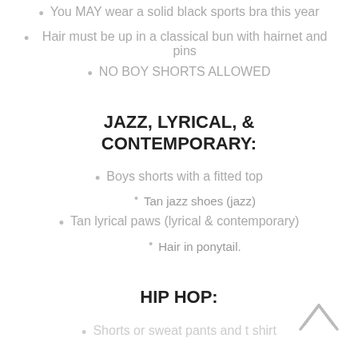You MAY wear a solid black sports bra this year
Hair must be up in a classical bun with hairnet and pins
NO BOY SHORTS ALLOWED
JAZZ, LYRICAL, & CONTEMPORARY:
Boys shorts with a fitted top
Tan jazz shoes (jazz)
Tan lyrical paws (lyrical & contemporary)
Hair in ponytail.
HIP HOP:
Shorts or sweat pants and t shirt